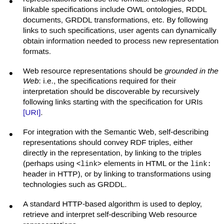representations that use the formats. Examples of linkable specifications include OWL ontologies, RDDL documents, GRDDL transformations, etc. By following links to such specifications, user agents can dynamically obtain information needed to process new representation formats.
Web resource representations should be grounded in the Web: i.e., the specifications required for their interpretation should be discoverable by recursively following links starting with the specification for URIs [URI].
For integration with the Semantic Web, self-describing representations should convey RDF triples, either directly in the representation, by linking to the triples (perhaps using <link> elements in HTML or the link: header in HTTP), or by linking to transformations using technologies such as GRDDL.
A standard HTTP-based algorithm is used to deploy, retrieve and interpret self-describing Web resource representations.